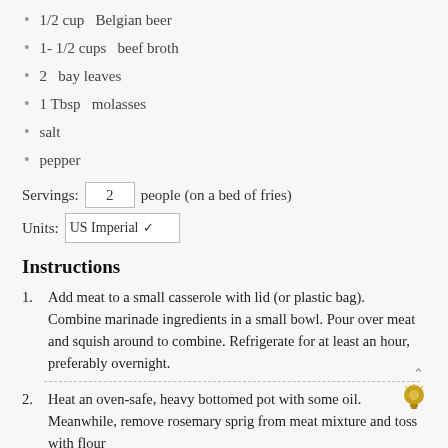1/2 cup  Belgian beer
1- 1/2 cups  beef broth
2  bay leaves
1 Tbsp  molasses
salt
pepper
Servings: 2 people (on a bed of fries)
Units: US Imperial
Instructions
Add meat to a small casserole with lid (or plastic bag). Combine marinade ingredients in a small bowl. Pour over meat and squish around to combine. Refrigerate for at least an hour, preferably overnight.
Heat an oven-safe, heavy bottomed pot with some oil. Meanwhile, remove rosemary sprig from meat mixture and toss with flour